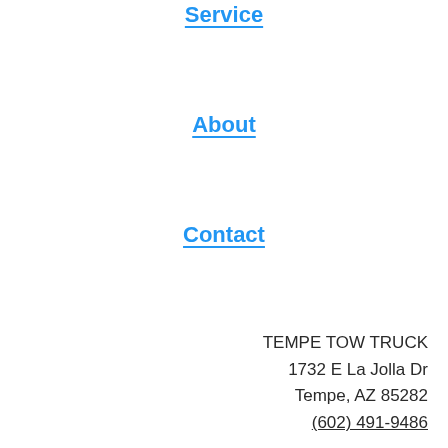Service
About
Contact
TEMPE TOW TRUCK
1732 E La Jolla Dr
Tempe, AZ 85282
(602) 491-9486